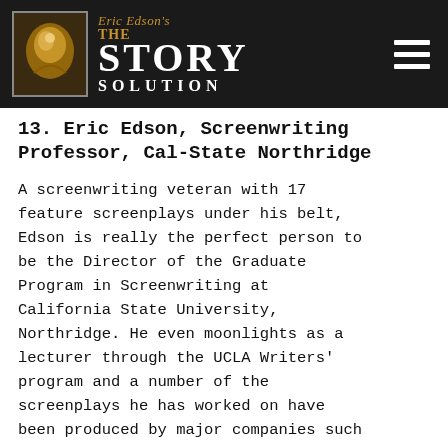[Figure (logo): Eric Edson's The Story Solution logo with decorative image on dark background header bar with hamburger menu icon]
13. Eric Edson, Screenwriting Professor, Cal-State Northridge
A screenwriting veteran with 17 feature screenplays under his belt, Edson is really the perfect person to be the Director of the Graduate Program in Screenwriting at California State University, Northridge. He even moonlights as a lecturer through the UCLA Writers' program and a number of the screenplays he has worked on have been produced by major companies such